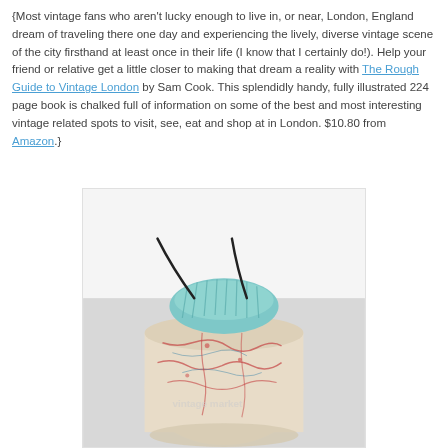{Most vintage fans who aren't lucky enough to live in, or near, London, England dream of traveling there one day and experiencing the lively, diverse vintage scene of the city firsthand at least once in their life (I know that I certainly do!). Help your friend or relative get a little closer to making that dream a reality with The Rough Guide to Vintage London by Sam Cook. This splendidly handy, fully illustrated 224 page book is chalked full of information on some of the best and most interesting vintage related spots to visit, see, eat and shop at in London. $10.80 from Amazon.}
[Figure (photo): A drawstring bag made from vintage map fabric with teal/blue fabric at the top, showing road map patterns in cream and red tones. The bag appears to be a product shot on a light grey background with a watermark.]